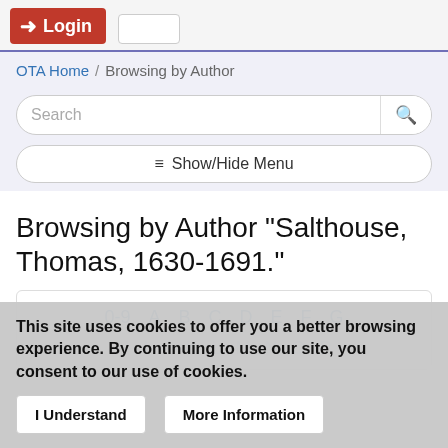Login
OTA Home / Browsing by Author
Search
≡ Show/Hide Menu
Browsing by Author "Salthouse, Thomas, 1630-1691."
0-9  A  B  C  D  E  F  G
This site uses cookies to offer you a better browsing experience. By continuing to use our site, you consent to our use of cookies.
I Understand    More Information